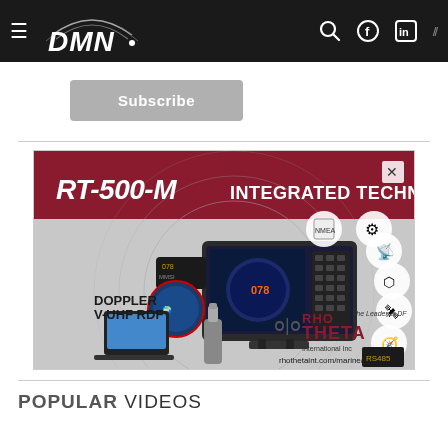DMN navigation bar with hamburger menu, search, Facebook, LinkedIn icons
Subscribe
[Figure (illustration): Advertisement for RT-500-M Integrated Technology by Rho Theta International Inc. Shows a marine navigation device with Doppler V-UHF RDF and various technology icons. Website: rhothetaint.com/marine/]
POPULAR VIDEOS